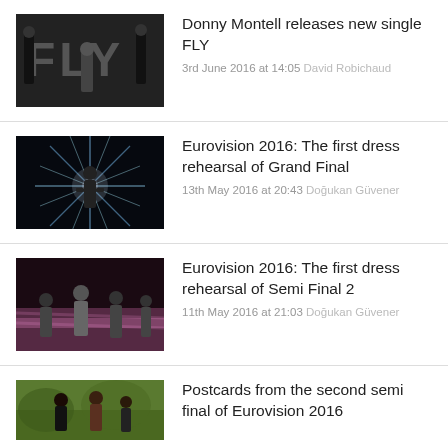[Figure (photo): Black and white photo showing FLY in large letters with performers posing]
Donny Montell releases new single FLY
3rd June 2016 at 14:05  David Robichaud
[Figure (photo): Person performing on stage with bright starburst light effect background]
Eurovision 2016: The first dress rehearsal of Grand Final
13th May 2016 at 20:43  Doğukan Güvener
[Figure (photo): Group of performers on Eurovision stage with pink lighting]
Eurovision 2016: The first dress rehearsal of Semi Final 2
11th May 2016 at 21:03  Doğukan Güvener
[Figure (photo): People outdoors, partial image cut off at bottom]
Postcards from the second semi final of Eurovision 2016